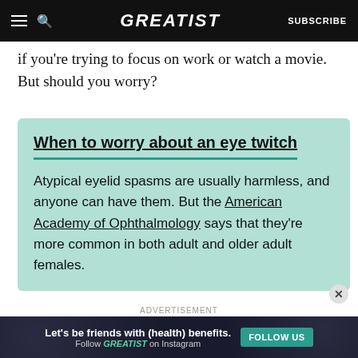GREATIST | SUBSCRIBE
if you're trying to focus on work or watch a movie. But should you worry?
When to worry about an eye twitch
Atypical eyelid spasms are usually harmless, and anyone can have them. But the American Academy of Ophthalmology says that they're more common in both adult and older adult females.
ADVERTISEMENT
Let's be friends with (health) benefits. Follow GREATIST on Instagram